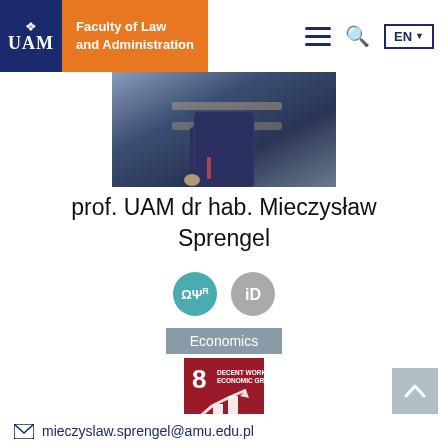[Figure (screenshot): UAM Faculty of Law and Administration website header with logo, hamburger menu, search icon, and EN language selector]
[Figure (photo): Photo of prof. UAM dr hab. Mieczysław Sprengel, a man in a dark plaid jacket standing near a shelf]
prof. UAM dr hab. Mieczysław Sprengel
[Figure (logo): Two circular profile/identifier icons: a teal ORCiD-style icon and a gray iD icon]
Economics
[Figure (infographic): SDG Goal 8: Decent Work and Economic Growth badge with bar chart icon]
mieczyslaw.sprengel@amu.edu.pl